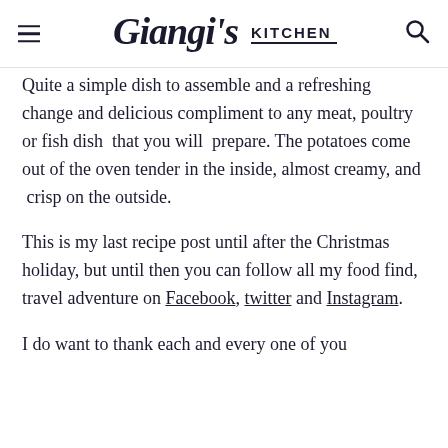Giangi's Kitchen
Quite a simple dish to assemble and a refreshing change and delicious compliment to any meat, poultry or fish dish  that you will  prepare. The potatoes come out of the oven tender in the inside, almost creamy, and  crisp on the outside.
This is my last recipe post until after the Christmas holiday, but until then you can follow all my food find, travel adventure on Facebook, twitter and Instagram.
I do want to thank each and every one of you